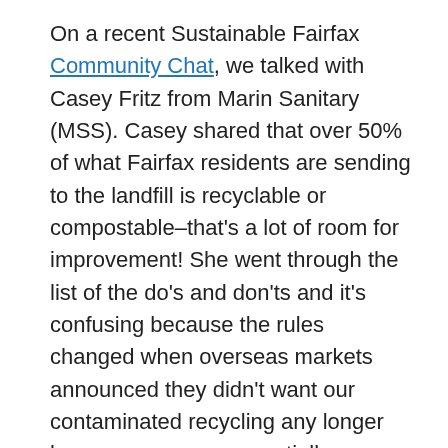On a recent Sustainable Fairfax Community Chat, we talked with Casey Fritz from Marin Sanitary (MSS). Casey shared that over 50% of what Fairfax residents are sending to the landfill is recyclable or compostable–that's a lot of room for improvement! She went through the list of the do's and don'ts and it's confusing because the rules changed when overseas markets announced they didn't want our contaminated recycling any longer because we were essentially exporting our landfill waste and pollution. You can watch the entire zoom chat here, but highlights of the talk, along with my commentary, include: